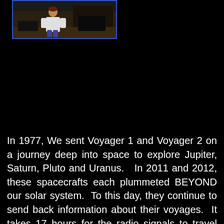[Figure (photo): A photograph of a person, framed with a blue border, shown in the upper left of the page against a black background.]
In 1977, We sent Voyager 1 and Voyager 2 on a journey deep into space to explore Jupiter, Saturn, Pluto and Uranus.  In 2011 and 2012, these spacecrafts each plummeted BEYOND our solar system.  To this day, they continue to send back information about their voyages.  It takes 17 hours for the radio signals to travel from the probes to earth, and 17 hours for earth to send command signals back.  These radio signals travel at the speed of light